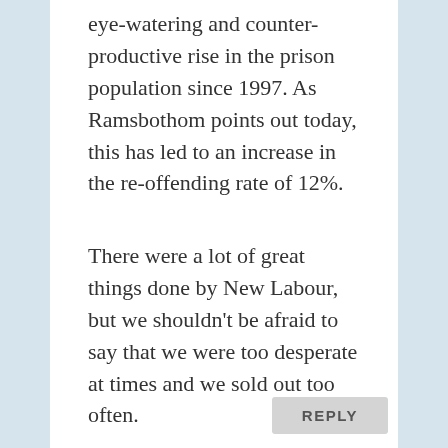eye-watering and counter-productive rise in the prison population since 1997. As Ramsbothom points out today, this has led to an increase in the re-offending rate of 12%.
There were a lot of great things done by New Labour, but we shouldn't be afraid to say that we were too desperate at times and we sold out too often.